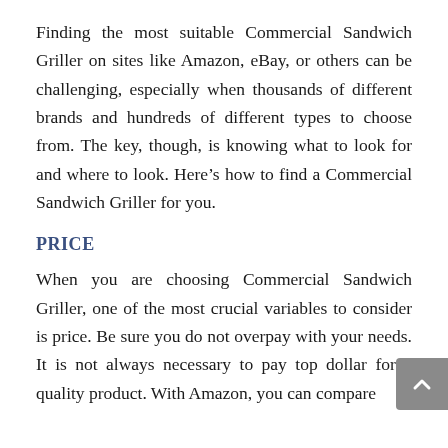Finding the most suitable Commercial Sandwich Griller on sites like Amazon, eBay, or others can be challenging, especially when thousands of different brands and hundreds of different types to choose from. The key, though, is knowing what to look for and where to look. Here's how to find a Commercial Sandwich Griller for you.
PRICE
When you are choosing Commercial Sandwich Griller, one of the most crucial variables to consider is price. Be sure you do not overpay with your needs. It is not always necessary to pay top dollar for a quality product. With Amazon, you can compare